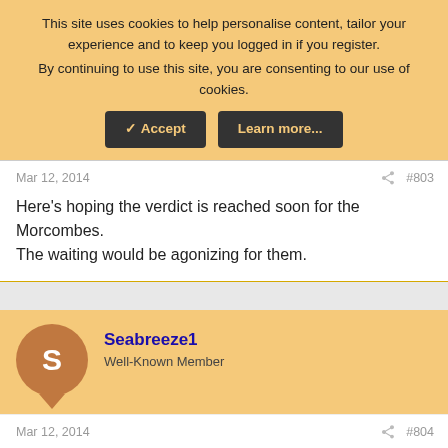This site uses cookies to help personalise content, tailor your experience and to keep you logged in if you register. By continuing to use this site, you are consenting to our use of cookies.
✓ Accept  Learn more...
Mar 12, 2014   #803
Here's hoping the verdict is reached soon for the Morcombes. The waiting would be agonizing for them.
Seabreeze1
Well-Known Member
Mar 12, 2014   #804
marlywings said: ↑